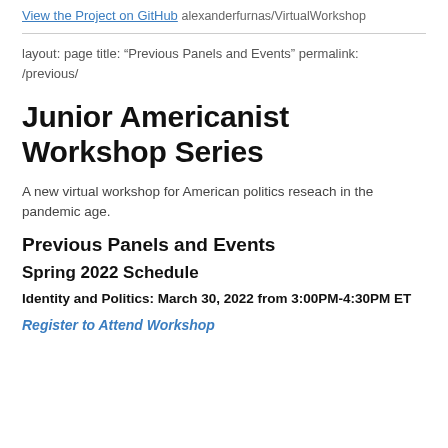View the Project on GitHub alexanderfurnas/VirtualWorkshop
layout: page title: “Previous Panels and Events” permalink: /previous/
Junior Americanist Workshop Series
A new virtual workshop for American politics reseach in the pandemic age.
Previous Panels and Events
Spring 2022 Schedule
Identity and Politics: March 30, 2022 from 3:00PM-4:30PM ET
Register to Attend Workshop